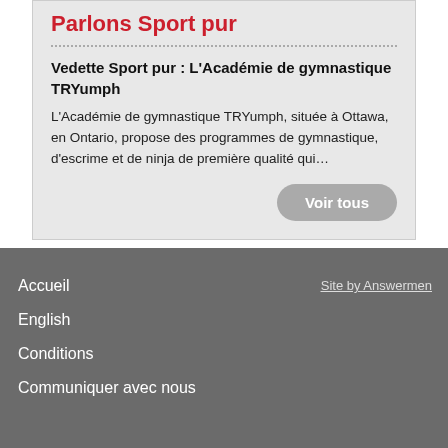Parlons Sport pur
Vedette Sport pur : L'Académie de gymnastique TRYumph
L'Académie de gymnastique TRYumph, située à Ottawa, en Ontario, propose des programmes de gymnastique, d'escrime et de ninja de première qualité qui…
Voir tous
Accueil
English
Conditions
Communiquer avec nous
Site by Answermen